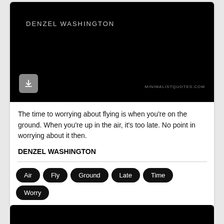[Figure (illustration): Black background quote card with 'DENZEL WASHINGTON' text in light gray at top, a download button (arrow icon) at bottom left, and 'MINIMALISTQUOTES.COM' watermark at bottom right.]
The time to worrying about flying is when you're on the ground. When you're up in the air, it's too late. No point in worrying about it then.
DENZEL WASHINGTON
Air
Fly
Ground
Late
Time
Worry